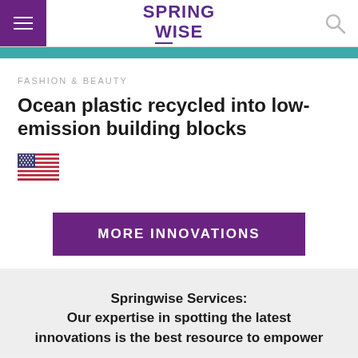SPRING WISE
FASHION & BEAUTY
Ocean plastic recycled into low-emission building blocks
[Figure (illustration): US flag icon]
MORE INNOVATIONS
Springwise Services:
Our expertise in spotting the latest innovations is the best resource to empower